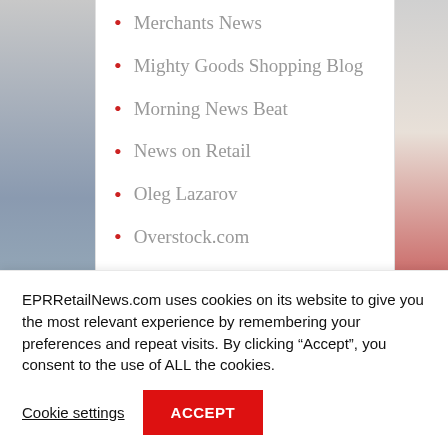Merchants News
Mighty Goods Shopping Blog
Morning News Beat
News on Retail
Oleg Lazarov
Overstock.com
Point of Purchase Magazine
Real Time Retail Press Release Distribution
EPRRetailNews.com uses cookies on its website to give you the most relevant experience by remembering your preferences and repeat visits. By clicking “Accept”, you consent to the use of ALL the cookies.
Cookie settings
ACCEPT